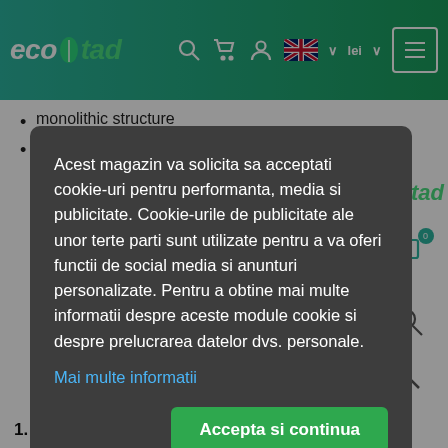ecotad — navigation header with search, cart, user, language (EN/UK flag), lei currency, and hamburger menu
monolithic structure
mechanical and thermal resistance at temperatures between -60 and +80 degrees
Acest magazin va solicita sa acceptati cookie-uri pentru performanta, media si publicitate. Cookie-urile de publicitate ale unor terte parti sunt utilizate pentru a va oferi functii de social media si anunturi personalizate. Pentru a obtine mai multe informatii despre aceste module cookie si despre prelucrarea datelor dvs. personale.
Mai multe informatii
Accepta si continua
1. When is the bacterial culture added to the